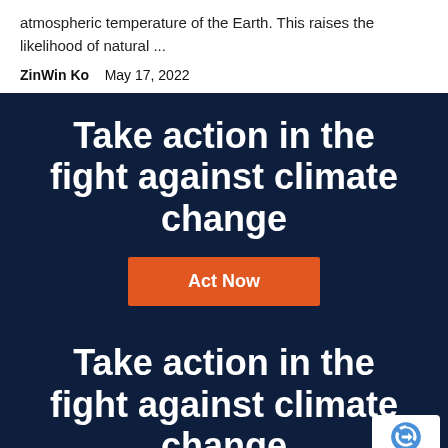atmospheric temperature of the Earth. This raises the likelihood of natural ...
ZinWin Ko    May 17, 2022
Take action in the fight against climate change
Act Now
Take action in the fight against climate change